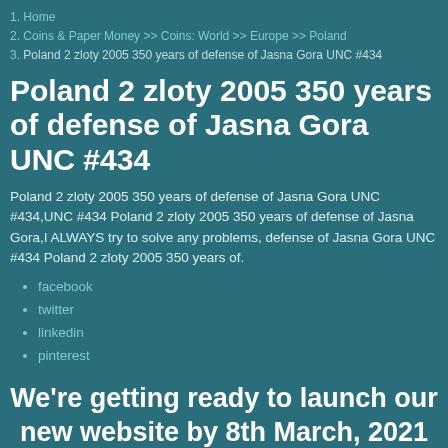1. Home
2. Coins & Paper Money >> Coins: World >> Europe >> Poland
3. Poland 2 zloty 2005 350 years of defense of Jasna Gora UNC #434
Poland 2 zloty 2005 350 years of defense of Jasna Gora UNC #434
Poland 2 zloty 2005 350 years of defense of Jasna Gora UNC #434,UNC #434 Poland 2 zloty 2005 350 years of defense of Jasna Gora,I ALWAYS try to solve any problems, defense of Jasna Gora UNC #434 Poland 2 zloty 2005 350 years of.
facebook
twitter
linkedin
pinterest
We're getting ready to launch our new website by 8th March, 2021